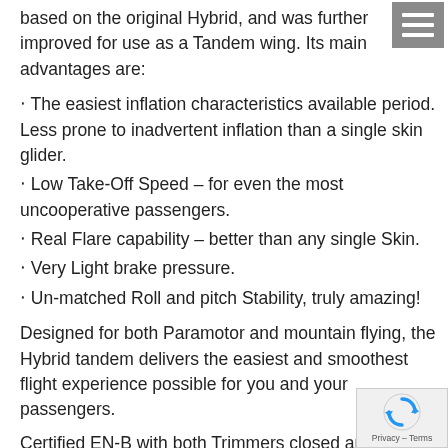based on the original Hybrid, and was further improved for use as a Tandem wing. Its main advantages are:
⁃ The easiest inflation characteristics available period. Less prone to inadvertent inflation than a single skin glider.
⁃ Low Take-Off Speed – for even the most uncooperative passengers.
⁃ Real Flare capability – better than any single Skin.
⁃ Very Light brake pressure.
⁃ Un-matched Roll and pitch Stability, truly amazing!
Designed for both Paramotor and mountain flying, the Hybrid tandem delivers the easiest and smoothest flight experience possible for you and your passengers.
Certified EN-B with both Trimmers closed and Open, with a weight range from 110 to 190 Kg.
DGAC approved* for paramotor use from 110-240kg.
The Hybrid Tandem is the easiest tandem wing on the